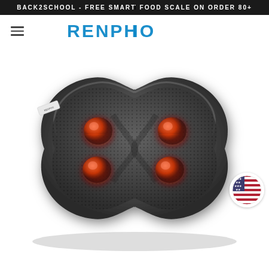BACK2SCHOOL - FREE SMART FOOD SCALE ON ORDER 80+
[Figure (logo): RENPHO brand logo with hamburger menu icon on the left]
[Figure (photo): RENPHO shiatsu neck and back massager pillow with heat, dark gray mesh fabric, four red glowing massage nodes visible, on white background. Small RENPHO label tag visible on upper left. US flag badge overlay on lower right.]